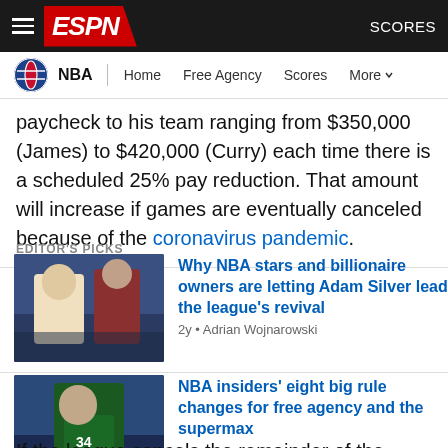ESPN - NBA - Home, Free Agency, Scores, More
paycheck to his team ranging from $350,000 (James) to $420,000 (Curry) each time there is a scheduled 25% pay reduction. That amount will increase if games are eventually canceled because of the coronavirus pandemic.
EDITOR'S PICKS
[Figure (photo): Two people in formal attire, one in white jersey and one in suit, facing each other - NBA related photo]
Why NBA stars and billionaire owners are letting Adam Silver lead the league's revival
2y • Adrian Wojnarowski
[Figure (photo): NBA player wearing Milwaukee Bucks jersey number 34 standing on court]
NBA insiders' eight big rule changes for free agency and the supermax
ESPN+ 2y • Bobby Marks
If the league cancels the remainder of the regular season and